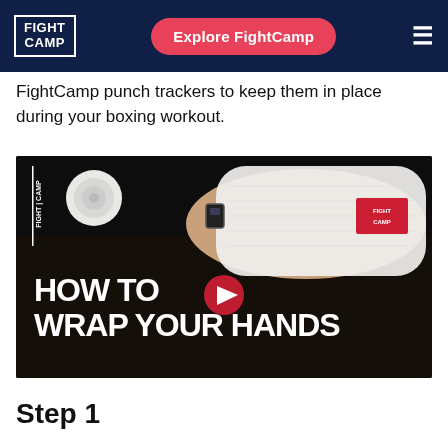FIGHT CAMP | Explore FightCamp
FightCamp punch trackers to keep them in place during your boxing workout.
[Figure (screenshot): Video thumbnail showing a hand wrapped in white boxing hand wraps with FightCamp branding and a punch tracker device, overlaid with text 'HOW TO WRAP YOUR HANDS' and a red play button in the center.]
Step 1